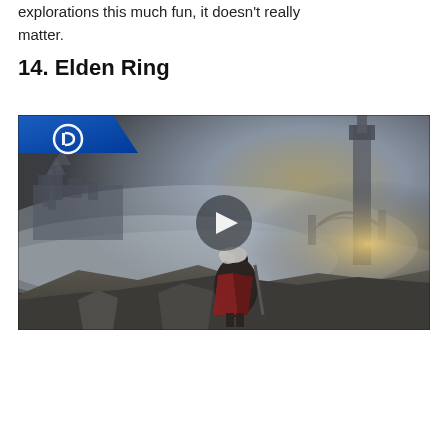explorations this much fun, it doesn't really matter.
14. Elden Ring
[Figure (screenshot): Elden Ring PlayStation video thumbnail showing a warrior character standing on a rocky cliff overlooking a misty fantasy landscape with castles and towers in the background. A large play button triangle is overlaid in the center. PlayStation logo is in the top-left corner on a blue triangular banner.]